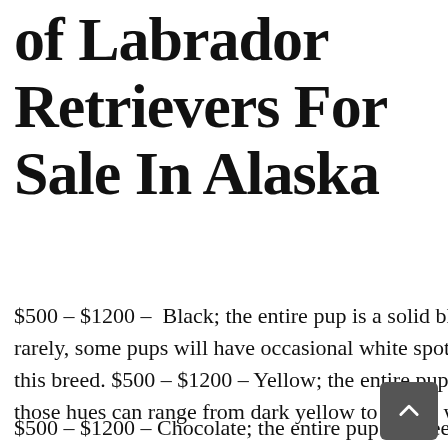of Labrador Retrievers For Sale In Alaska
$500 – $1200 –  Black; the entire pup is a solid black color with a shiny, sleek coat. Very rarely, some pups will have occasional white spots. Black is the most common color in this breed. $500 – $1200 – Yellow; the entire pup is a light brown or tan color, although those hues can range from dark yellow to nearly white.
$500 – $1200 – Chocolate; the entire pup is a deep brown chocolate color, and the shade of